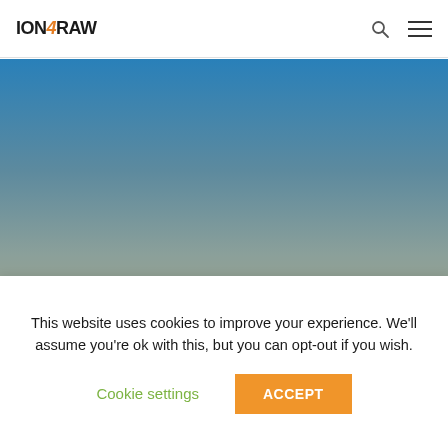ION4RAW
[Figure (photo): Blue sky gradient hero image fading from bright blue at top to muted blue-grey and olive tones at the bottom]
News & Blog
This website uses cookies to improve your experience. We'll assume you're ok with this, but you can opt-out if you wish.
Cookie settings  ACCEPT